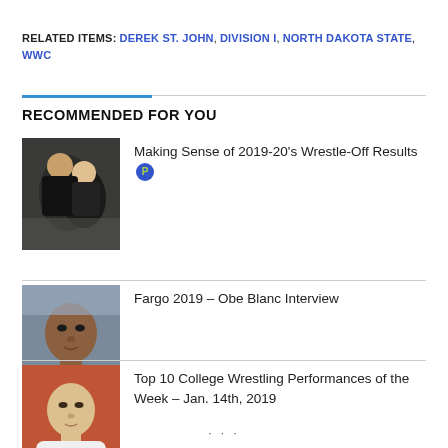RELATED ITEMS: DEREK ST. JOHN, DIVISION I, NORTH DAKOTA STATE, WWC
RECOMMENDED FOR YOU
[Figure (photo): Wrestling action photo showing two wrestlers in a match]
Making Sense of 2019-20's Wrestle-Off Results [P]
[Figure (photo): Portrait photo of Obe Blanc]
Fargo 2019 – Obe Blanc Interview
[Figure (photo): Portrait photo of a wrestler]
Top 10 College Wrestling Performances of the Week – Jan. 14th, 2019